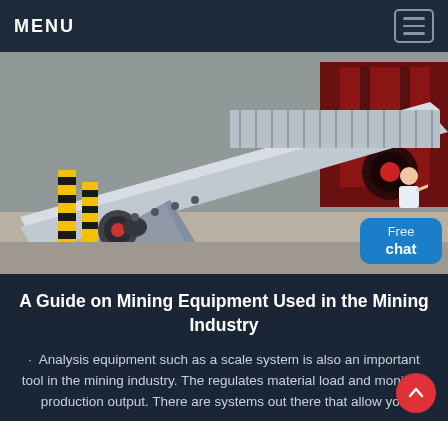MENU
[Figure (photo): Industrial mining conveyor/screen equipment (vibrating screen or feeder) on a warehouse floor with heavy machinery visible in the background, including yellow safety bollards and red industrial equipment.]
A Guide on Mining Equipment Used in the Mining Industry
· Analysis equipment such as a scale system is also an important tool in the mining industry. The regulates material load and monitors production output. There are systems out there that allow you